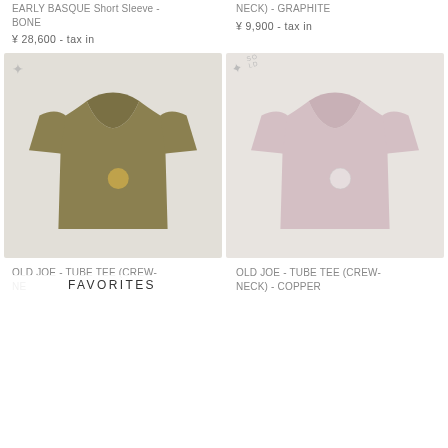EARLY BASQUE Short Sleeve - BONE
¥ 28,600 - tax in
NECK) - GRAPHITE
¥ 9,900 - tax in
[Figure (photo): Olive/khaki colored crew-neck t-shirt with a small circular logo on the chest, displayed on a light gray background. A star badge icon is in the top left corner.]
[Figure (photo): Light pink/mauve colored crew-neck t-shirt with a small circular logo on the chest, displayed on a light gray background. A SOLD badge with star icon is in the top left corner.]
OLD JOE - TUBE TEE (CREW-NECK) - (color cut off) / FAVORITES
OLD JOE - TUBE TEE (CREW-NECK) - COPPER